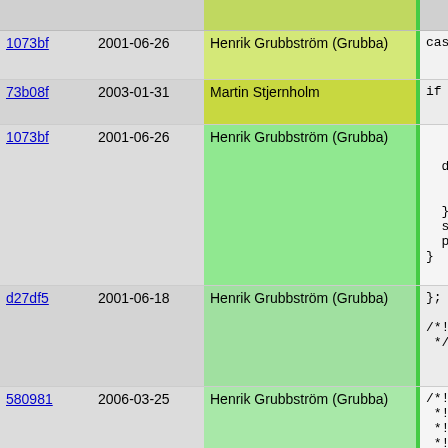| Hash | Date | Author | Code |
| --- | --- | --- | --- |
|  |  |  |  |
| 1073bf | 2001-06-26 | Henrik Grubbström (Grubba) | case 2: |
| 73b08f | 2003-01-31 | Martin Stjernholm | if (Th |
| 1073bf | 2001-06-26 | Henrik Grubbström (Grubba) | assign
break;
default
assign
break;
}
stack_sw
pop_sta
} |
| d27df5 | 2001-06-18 | Henrik Grubbström (Grubba) | };

/*! @endclas
 */ |
| 580981 | 2006-03-25 | Henrik Grubbström (Grubba) | /*! @decl ma
 *!
 *! Get info
 *!
 *! @returns
 *!   Return
 *! @mappi
 *!   @mer
 *! |